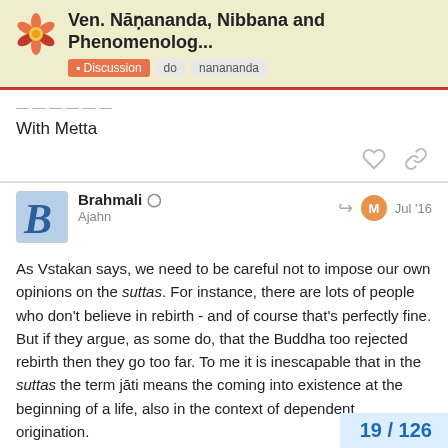Ven. Nāṇananda, Nibbana and Phenomenolog... Discussion do nanananda
With Metta
Brahmali
Ajahn
Jul '16
As Vstakan says, we need to be careful not to impose our own opinions on the suttas. For instance, there are lots of people who don't believe in rebirth - and of course that's perfectly fine. But if they argue, as some do, that the Buddha too rejected rebirth then they go too far. To me it is inescapable that in the suttas the term jāti means the coming into existence at the beginning of a life, also in the context of dependent origination.
19 / 126